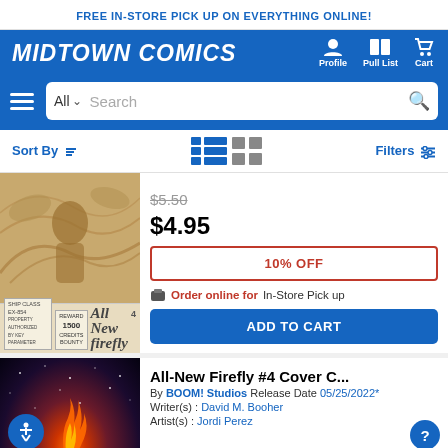FREE IN-STORE PICK UP ON EVERYTHING ONLINE!
[Figure (logo): Midtown Comics logo in white italic bold text on blue background with Profile, Pull List, Cart navigation icons]
[Figure (screenshot): Search bar with hamburger menu, All dropdown, Search input, and search icon on blue background]
Sort By | Filters
[Figure (photo): Comic book cover artwork - sepia toned illustration with ship/bounty theme, All-New Firefly #4]
$5.50
$4.95
10% OFF
Order online for In-Store Pick up
ADD TO CART
All-New Firefly #4 Cover C...
By BOOM! Studios Release Date 05/25/2022*
Writer(s) : David M. Booher
Artist(s) : Jordi Perez